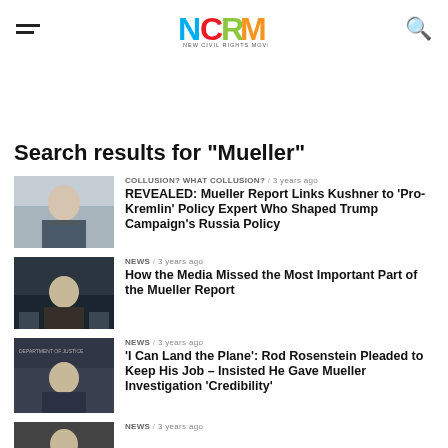NCRM - New Civil Rights Movement
Search results for "Mueller"
[Figure (photo): Thumbnail of Jared Kushner at podium]
COLLUSION? WHAT COLLUSION? / 3 years ago
REVEALED: Mueller Report Links Kushner to ‘Pro-Kremlin’ Policy Expert Who Shaped Trump Campaign’s Russia Policy
[Figure (photo): Thumbnail of Robert Mueller testifying]
NEWS / 3 years ago
How the Media Missed the Most Important Part of the Mueller Report
[Figure (photo): Thumbnail of Rod Rosenstein at Department of Justice podium]
NEWS / 3 years ago
‘I Can Land the Plane’: Rod Rosenstein Pleaded to Keep His Job – Insisted He Gave Mueller Investigation ‘Credibility’
[Figure (photo): Thumbnail of fourth result]
NEWS / 3 years ago